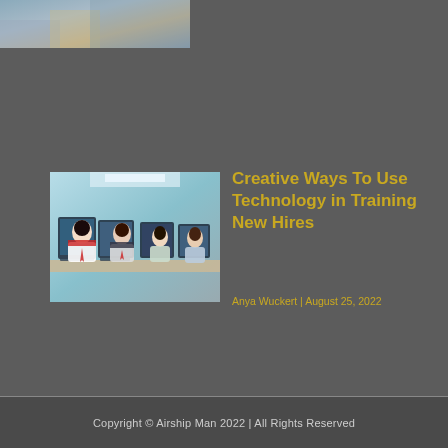[Figure (photo): Partial top banner image showing people in an office or training setting]
[Figure (photo): Photo of business professionals sitting at computers in an office training environment]
Creative Ways To Use Technology in Training New Hires
Anya Wuckert | August 25, 2022
Copyright © Airship Man 2022 | All Rights Reserved